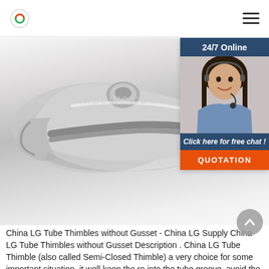www.vcyarigging.com — logo and navigation menu
[Figure (photo): Close-up photo of a stainless steel LG Tube Thimble (Semi-Closed Thimble) hardware component, silver metallic finish, showing the tube groove channel. Watermark text reads WWW.VCYARIGGING.COM. A 24/7 online chat widget overlay is visible at the right showing a customer service representative with headset.]
China LG Tube Thimbles without Gusset - China LG Supply China LG Tube Thimbles without Gusset Description . China LG Tube Thimble (also called Semi-Closed Thimble) a very choice for some important situation, it well keep the ro into the tube groove, avoid the line fall off from thimble. make safer on working.. China LG Tube Thimbles without Gusset i s a high quality and low price products.This tube thimble will